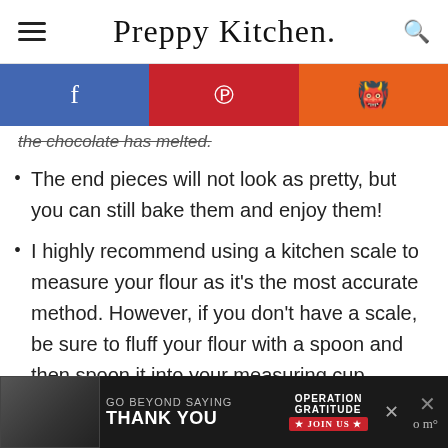Preppy Kitchen
[Figure (infographic): Social sharing bar with Facebook (blue), Pinterest (red), and Reddit (orange) buttons]
the chocolate has melted.
The end pieces will not look as pretty, but you can still bake them and enjoy them!
I highly recommend using a kitchen scale to measure your flour as it's the most accurate method. However, if you don't have a scale, be sure to fluff your flour with a spoon and then spoon it into your measuring cup
[Figure (photo): Advertisement banner: GO BEYOND SAYING THANK YOU - Operation Gratitude JOIN US]